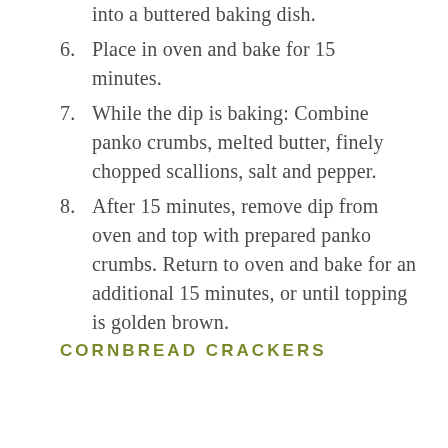into a buttered baking dish.
6. Place in oven and bake for 15 minutes.
7. While the dip is baking: Combine panko crumbs, melted butter, finely chopped scallions, salt and pepper.
8. After 15 minutes, remove dip from oven and top with prepared panko crumbs. Return to oven and bake for an additional 15 minutes, or until topping is golden brown.
CORNBREAD CRACKERS